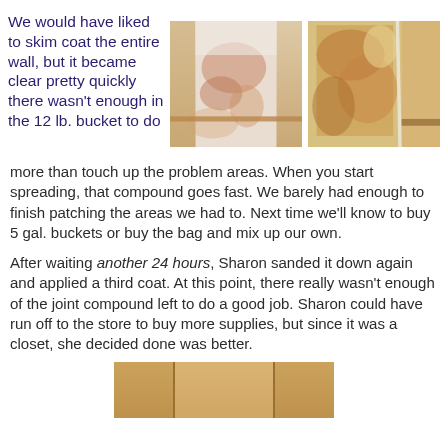We would have liked to skim coat the entire wall, but it became clear pretty quickly there wasn't enough in the 12 lb. bucket to do more than touch up the problem areas. When you start spreading, that compound goes fast. We barely had enough to finish patching the areas we had to. Next time we'll know to buy 5 gal. buckets or buy the bag and mix up our own.
[Figure (photo): Photo of a wall showing peeling or damaged wallpaper/plaster with exposed areas, warm-toned interior]
[Figure (photo): Photo of a wall corner showing damaged wall surface with orange/brown tones and exposed plaster]
After waiting another 24 hours, Sharon sanded it down again and applied a third coat. At this point, there really wasn't enough of the joint compound left to do a good job. Sharon could have run off to the store to buy more supplies, but since it was a closet, she decided done was better.
[Figure (photo): Partial photo at bottom showing a wall or door area with warm beige/tan tones]